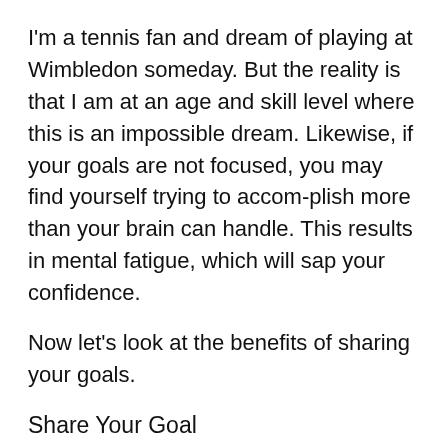I'm a tennis fan and dream of playing at Wimbledon someday. But the reality is that I am at an age and skill level where this is an impossible dream. Likewise, if your goals are not focused, you may find yourself trying to accom-plish more than your brain can handle. This results in mental fatigue, which will sap your confidence.
Now let's look at the benefits of sharing your goals.
Share Your Goal
I must admit, this is risky. Even your friends and family, who should be your greatest source of support, can sometimes be your greatest source of discouragement. Many times they are not aware that they are harming you. They want to limit your expectations so they can protect you from failure. All the same, friends and family can be